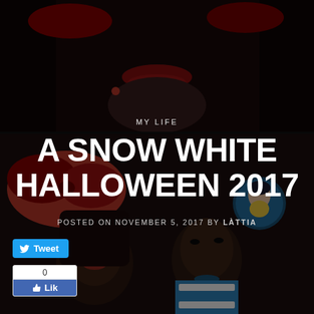[Figure (photo): Dark background photo of two women in Snow White Halloween costumes with red bows, heavy makeup, and colorful accessories. Two photos tiled — top portion shows a close-up of a face with red lips, bottom portion shows two women posing together.]
MY LIFE
A SNOW WHITE HALLOWEEN 2017
POSTED ON NOVEMBER 5, 2017 BY LÀTTIA